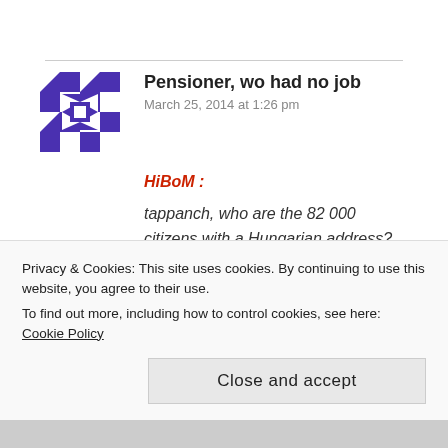Pensioner, wo had no job
March 25, 2014 at 1:26 pm
HiBoM :
tappanch, who are the 82 000 citizens with a Hungarian address? Are these people who have authentically settled, or just ethnic Hungarians with some sort of accommodation address? I'm not
Privacy & Cookies: This site uses cookies. By continuing to use this website, you agree to their use.
To find out more, including how to control cookies, see here: Cookie Policy
Close and accept